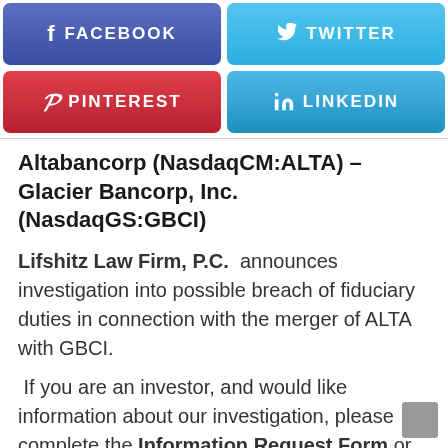[Figure (infographic): Social media share buttons: Facebook (blue-purple), Twitter (blue), Pinterest (red), LinkedIn (blue)]
Altabancorp (NasdaqCM:ALTA) – Glacier Bancorp, Inc. (NasdaqGS:GBCI)
Lifshitz Law Firm, P.C. announces investigation into possible breach of fiduciary duties in connection with the merger of ALTA with GBCI.
If you are an investor, and would like information about our investigation, please complete the Information Request Form or contact Joshua Lifshitz, Esq. by telephone at (516)493-9780 or e-mail at info@jlclasslaw.com.